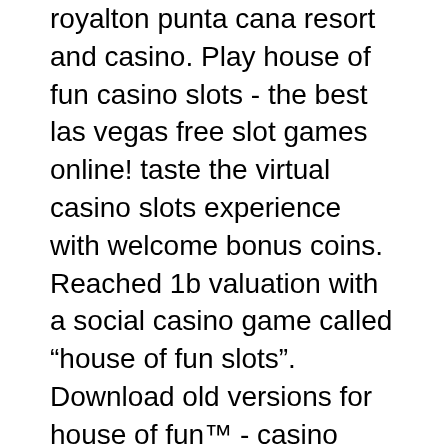royalton punta cana resort and casino. Play house of fun casino slots - the best las vegas free slot games online! taste the virtual casino slots experience with welcome bonus coins. Reached 1b valuation with a social casino game called “house of fun slots”. Download old versions for house of fun™ - casino slots apk. Free slots casino - play house of fun slots is a free slots game for android made by playtika interactive uk limited. This is a great app for friends. House of fun slots casino - free 777 vegas games, free and safe download. House of fun slots casino - free 777 vegas games latest version: a free app
There are several ways you can earn free spins when playing slots online. Currently, HoF offers the option for new users to choose between either 1000 coins of 100 free spins as their welcome gift, house of fun slots casino. This gift offers plenty of opportunity to earn a ton of in-game